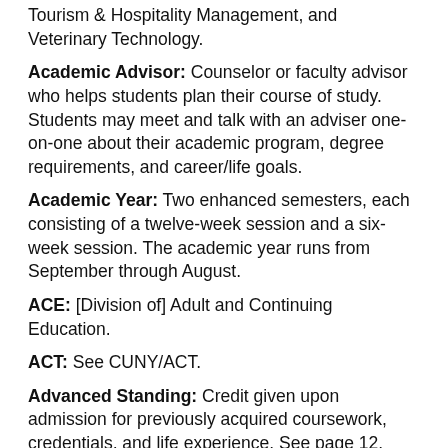Tourism & Hospitality Management, and Veterinary Technology.
Academic Advisor: Counselor or faculty advisor who helps students plan their course of study. Students may meet and talk with an adviser one-on-one about their academic program, degree requirements, and career/life goals.
Academic Year: Two enhanced semesters, each consisting of a twelve-week session and a six-week session. The academic year runs from September through August.
ACE: [Division of] Adult and Continuing Education.
ACT: See CUNY/ACT.
Advanced Standing: Credit given upon admission for previously acquired coursework, credentials, and life experience. See page 12.